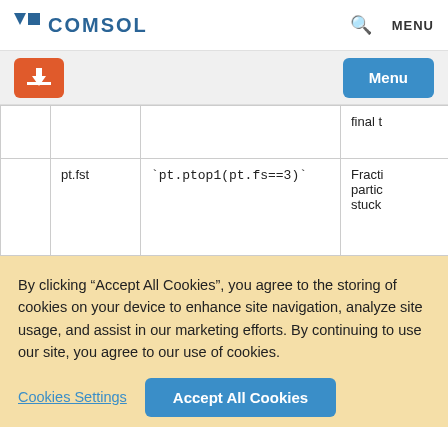COMSOL — Q | MENU
Download button | Menu button
|  |  |  |  |
| --- | --- | --- | --- |
|  |  |  | final t |
| pt.fst | `pt.ptop1(pt.fs==3)` |  | Fracti
partic
stuck |
By clicking “Accept All Cookies”, you agree to the storing of cookies on your device to enhance site navigation, analyze site usage, and assist in our marketing efforts. By continuing to use our site, you agree to our use of cookies.
Cookies Settings | Accept All Cookies